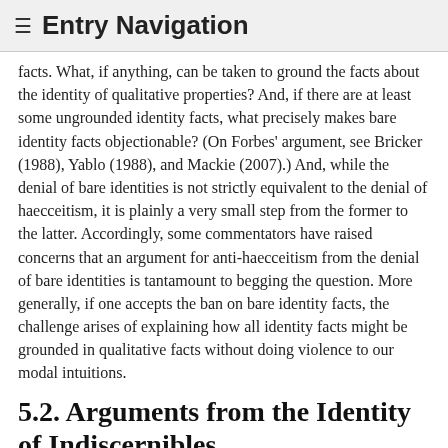≡ Entry Navigation
facts. What, if anything, can be taken to ground the facts about the identity of qualitative properties? And, if there are at least some ungrounded identity facts, what precisely makes bare identity facts objectionable? (On Forbes' argument, see Bricker (1988), Yablo (1988), and Mackie (2007).) And, while the denial of bare identities is not strictly equivalent to the denial of haecceitism, it is plainly a very small step from the former to the latter. Accordingly, some commentators have raised concerns that an argument for anti-haecceitism from the denial of bare identities is tantamount to begging the question. More generally, if one accepts the ban on bare identity facts, the challenge arises of explaining how all identity facts might be grounded in qualitative facts without doing violence to our modal intuitions.
5.2. Arguments from the Identity of Indiscernibles
The Principle of the Identity of Indiscernibles (hereafter,